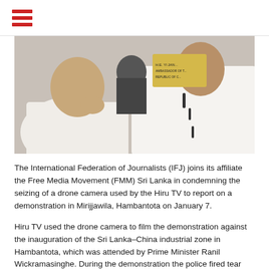≡ (hamburger menu icon)
[Figure (photo): Two men in white shirts seated at an event. The man on the left is an older gentleman with his hand raised to his chin in a thoughtful pose. The man on the right is younger, wearing a mandarin collar white shirt. A yellow placard is partially visible in the background.]
The International Federation of Journalists (IFJ) joins its affiliate the Free Media Movement (FMM) Sri Lanka in condemning the seizing of a drone camera used by the Hiru TV to report on a demonstration in Mirijjawila, Hambantota on January 7.
Hiru TV used the drone camera to film the demonstration against the inauguration of the Sri Lanka–China industrial zone in Hambantota, which was attended by Prime Minister Ranil Wickramasinghe. During the demonstration the police fired tear gas shells and launched water canons to disperse the